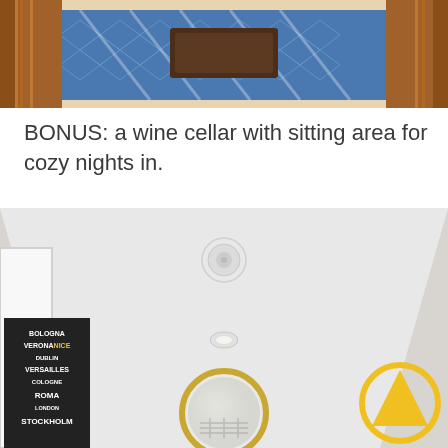[Figure (photo): Aerial or elevated view of a wooden deck with a blue patterned rug and a dark wooden coffee table, flanked by wooden railings.]
BONUS: a wine cellar with sitting area for cozy nights in.
[Figure (photo): Interior hallway of a home with white walls, a smoke detector on the ceiling, a decorative black city-names poster on the left wall, a round gold-framed mirror, and a yellow triangle icon on the right.]